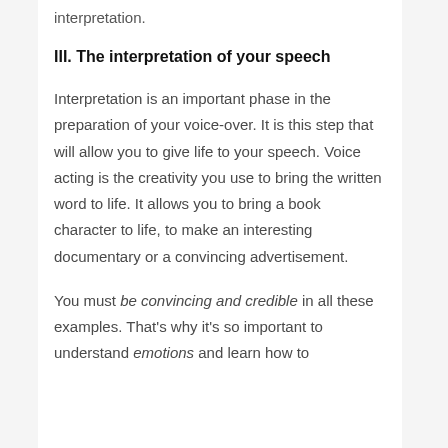interpretation.
III. The interpretation of your speech
Interpretation is an important phase in the preparation of your voice-over. It is this step that will allow you to give life to your speech. Voice acting is the creativity you use to bring the written word to life. It allows you to bring a book character to life, to make an interesting documentary or a convincing advertisement.
You must be convincing and credible in all these examples. That's why it's so important to understand emotions and learn how to